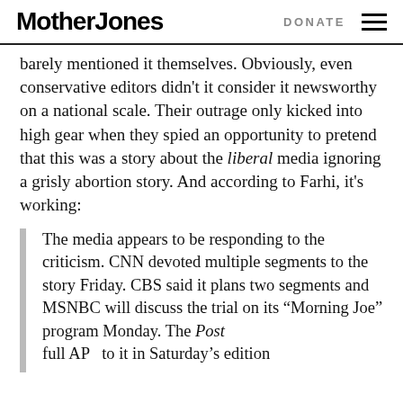Mother Jones   DONATE
barely mentioned it themselves. Obviously, even conservative editors didn’t it consider it newsworthy on a national scale. Their outrage only kicked into high gear when they spied an opportunity to pretend that this was a story about the liberal media ignoring a grisly abortion story. And according to Farhi, it’s working:
The media appears to be responding to the criticism. CNN devoted multiple segments to the story Friday. CBS said it plans two segments and MSNBC will discuss the trial on its “Morning Joe” program Monday. The Post full AP … to it in Saturday’s edition